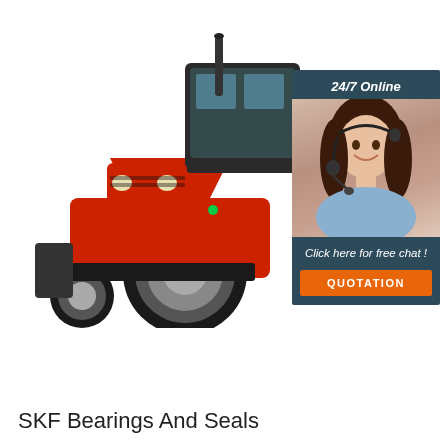[Figure (photo): A red agricultural tractor with large rear wheels, enclosed cab, and black frame, shown on a white background. Overlaid in the top-right is a customer service chat widget showing a smiling woman with a headset, '24/7 Online' header in dark blue/teal, 'Click here for free chat!' text, and an orange 'QUOTATION' button.]
SKF Bearings And Seals